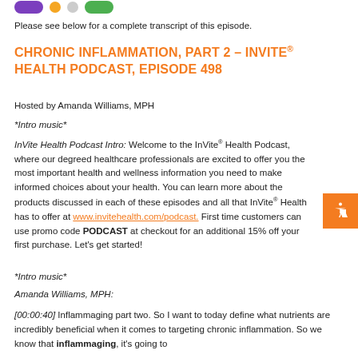[Figure (other): Top icons: purple pill shape, orange dot, grey dot, green pill shape]
Please see below for a complete transcript of this episode.
CHRONIC INFLAMMATION, PART 2 – INVITE® HEALTH PODCAST, EPISODE 498
Hosted by Amanda Williams, MPH
*Intro music*
InVite Health Podcast Intro: Welcome to the InVite® Health Podcast, where our degreed healthcare professionals are excited to offer you the most important health and wellness information you need to make informed choices about your health. You can learn more about the products discussed in each of these episodes and all that InVite® Health has to offer at www.invitehealth.com/podcast. First time customers can use promo code PODCAST at checkout for an additional 15% off your first purchase. Let’s get started!
*Intro music*
Amanda Williams, MPH:
[00:00:40] Inflammaging part two. So I want to today define what nutrients are incredibly beneficial when it comes to targeting chronic inflammation. So we know that inflammaging, it’s going to